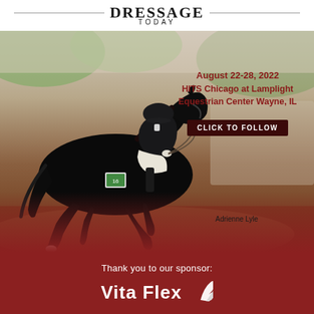DRESSAGE TODAY
August 22-28, 2022
HITS Chicago at Lamplight
Equestrian Center Wayne, IL
CLICK TO FOLLOW
[Figure (photo): Equestrian rider Adrienne Lyle dressed in formal dressage attire riding a black horse in an arena. The horse is in extended trot movement. Sand arena background with greenery.]
Adrienne Lyle
Thank you to our sponsor:
[Figure (logo): Vita Flex logo with stylized horse head graphic in white on dark red background]